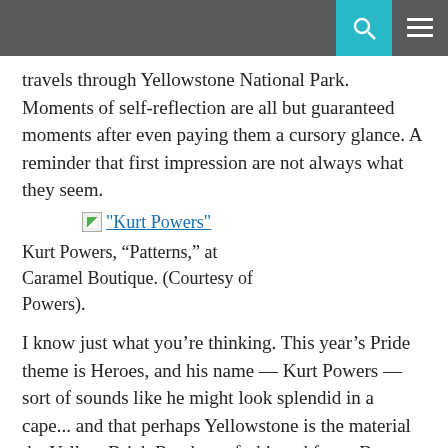travels through Yellowstone National Park.  Moments of self-reflection are all but guaranteed moments after even paying them a cursory glance. A reminder that first impression are not always what they seem.
[Figure (photo): Broken image placeholder with link text: "Kurt Powers"]
Kurt Powers, “Patterns,” at Caramel Boutique. (Courtesy of Powers).
I know just what you’re thinking. This year’s Pride theme is Heroes, and his name — Kurt Powers — sort of sounds like he might look splendid in a cape... and that perhaps Yellowstone is the material the Yellow Brick Road was fashioned from. But trust me, it’s well worth your time.
Juxtaposed among deeply exposed, highly saturated scenes resembling nebulas, outer space, and the vibrant